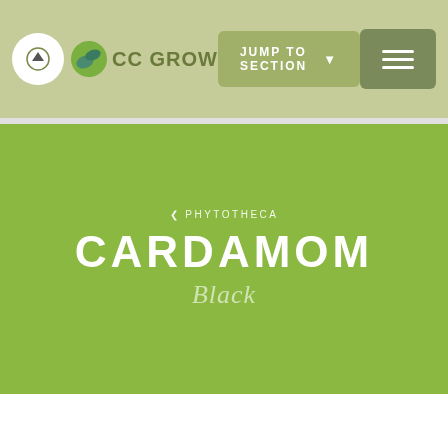CC GROW
JUMP TO SECTION
CARDAMOM
Black
< PHYTOTHECA